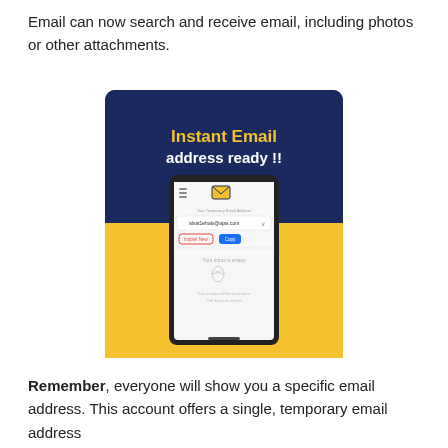Email can now search and receive email, including photos or other attachments.
[Figure (screenshot): A smartphone (LG) held by a hand against a yellow background, displaying an email app screen. The top half of the card has a dark navy background with text 'Instant Email address ready !!' in yellow and white bold fonts. The phone screen shows an email app interface with a temporary email address 'alsat1ehals@ajas.com' and an empty inbox message.]
Remember, everyone will show you a specific email address. This account offers a single, temporary email address